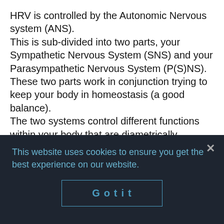HRV is controlled by the Autonomic Nervous system (ANS). This is sub-divided into two parts, your Sympathetic Nervous System (SNS) and your Parasympathetic Nervous System (P(S)NS). These two parts work in conjunction trying to keep your body in homeostasis (a good balance). The two systems control different functions within your body that are diametrically opposite. The PNS controls the 'rest and digest' functions whilst the SNS controls the 'fight or flight' functions.
This website uses cookies to ensure you get the best experience on our website.
Got it